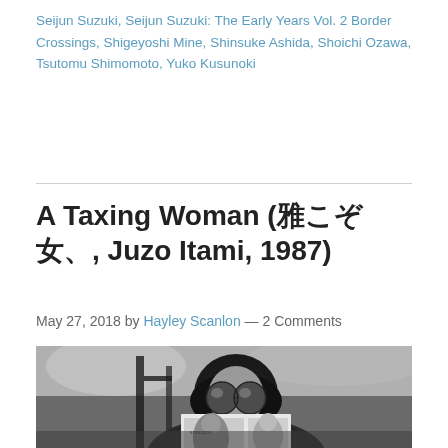Seijun Suzuki, Seijun Suzuki: The Early Years Vol. 2 Border Crossings, Shigeyoshi Mine, Shinsuke Ashida, Shoichi Ozawa, Tsutomu Shimomoto, Yuko Kusunoki
A Taxing Woman (□□□□□, Juzo Itami, 1987)
May 27, 2018 by Hayley Scanlon — 2 Comments
[Figure (photo): Black and white photograph of a woman with a short dark bob haircut wearing large round reflective sunglasses, reading a magazine (Shiseido) while seated outdoors. The image is from the 1987 Japanese film A Taxing Woman directed by Juzo Itami.]